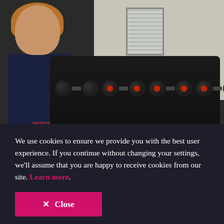[Figure (photo): A young woman with curly red-blonde hair wearing a navy blue shirt stands smiling in a gym or weight room. Behind her is a wall with a window, and to her right is a rack of dumbbells with round black weights, some with red labels.]
We use cookies to ensure we provide you with the best user experience. If you continue without changing your settings, we'll assume that you are happy to receive cookies from our site. Learn more.
✕ Close